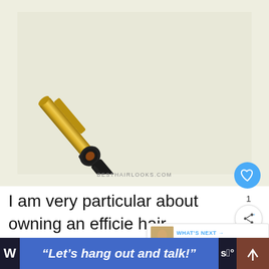[Figure (photo): A gold and black hair curling iron/wand on a light beige background. The barrel is gold/rose-gold colored and the handle is black. Watermark reads BESTHAIRLOOKS.COM]
I am very particular about owning an efficie[nt] hair curling tool for our hair. This one from hot tools provides exactly that.
"Let’s hang out and talk!"